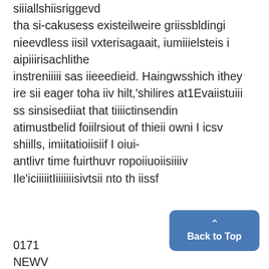siiiallshiisriggevd tha si-cakusess existeilweire griissbldingi nieevdless iisil vxterisagaait, iumiiielsteis i aipiiirisachlithe instreniiiii sas iieeedieid. Haingwsshich ithey ire sii eager toha iiv hilt,'shilires at1Evaiistuiii ss sinsisediiat that tiiiictinsendin atimustbelid foiilrsiout of thieii owni I icsv shiills, imiitatioiisiif I oiui-antlivr time fuirthuvr ropoiiuoiisiiiiv Ile'iciiiiitIiiiiiiisivtsii nto th iissf
0171
NEWV